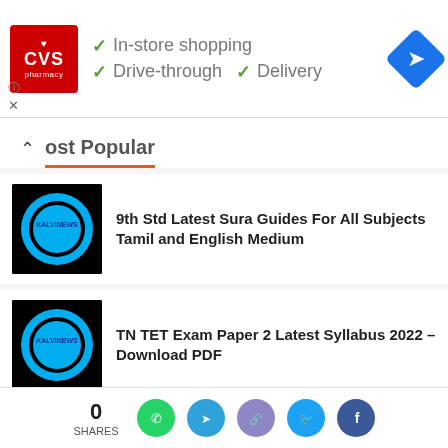[Figure (screenshot): CVS Pharmacy ad banner showing In-store shopping, Drive-through, Delivery checkmarks and navigation icon]
ost Popular
9th Std Latest Sura Guides For All Subjects Tamil and English Medium
TN TET Exam Paper 2 Latest Syllabus 2022 – Download PDF
5th Standard Government Model Question Papers and Answers (Tamil And English Medium)
0 SHARES